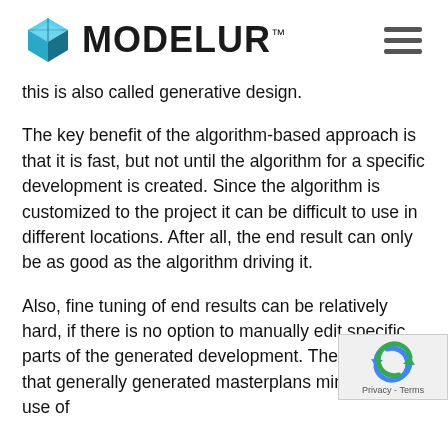MODELUR™
this is also called generative design.
The key benefit of the algorithm-based approach is that it is fast, but not until the algorithm for a specific development is created. Since the algorithm is customized to the project it can be difficult to use in different locations. After all, the end result can only be as good as the algorithm driving it.
Also, fine tuning of end results can be relatively hard, if there is no option to manually edit specific parts of the generated development. The reason is that generatively generated masterplans minimize the use of